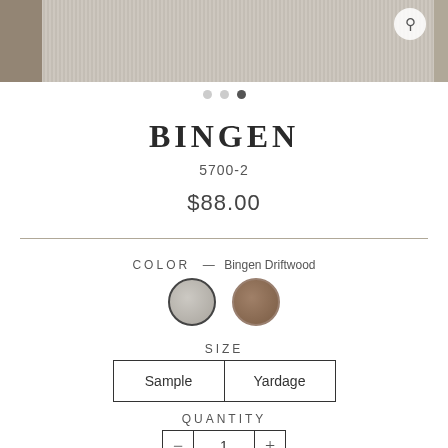[Figure (photo): Close-up texture of woven fabric in gray/beige tones, shown as a product image strip with a magnify icon]
BINGEN
5700-2
$88.00
COLOR — Bingen Driftwood
[Figure (other): Two circular color swatches: gray and brown/driftwood]
SIZE
Sample    Yardage
QUANTITY